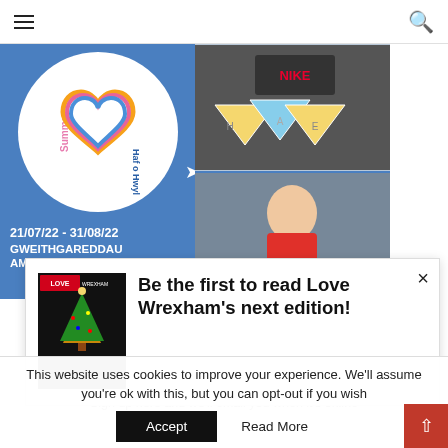≡  [search icon]
[Figure (photo): Blue banner for a summer activity programme showing a heart logo with 'Summer / Haf o Hwyl' text, children holding bunting and a child drawing. Text: 21/07/22 - 31/08/22, GWEITHGAREDDAU AM DDIM TRWY'R]
[Figure (photo): Love Wrexham magazine cover thumbnail showing a Christmas tree]
Be the first to read Love Wrexham's next edition!
Sign up here and we'll email you when it's online
This website uses cookies to improve your experience. We'll assume you're ok with this, but you can opt-out if you wish
Accept   Read More